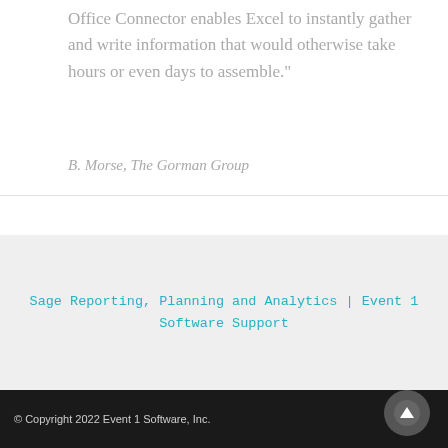Office Connector enables Excel to instantly gather and write information that would otherwise take hours or even days to assemble."
B. Morse, The Gorman Group
Sage Reporting, Planning and Analytics | Event 1 Software Support
© Copyright 2022 Event 1 Software, Inc.